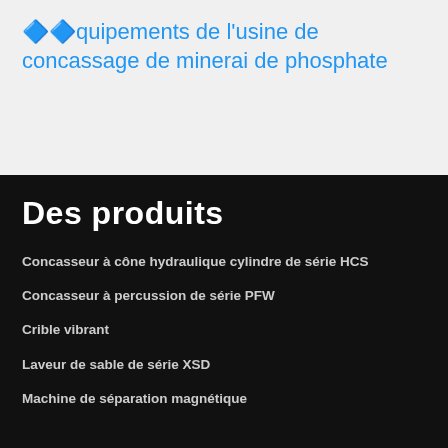Équipements de l'usine de concassage de minerai de phosphate
Des produits
Concasseur à cône hydraulique cylindre de série HCS
Concasseur à percussion de série PFW
Crible vibrant
Laveur de sable de série XSD
Machine de séparation magnétique